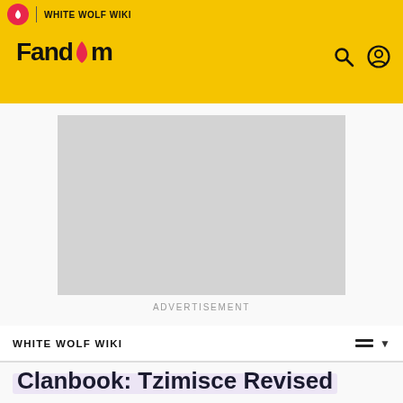Fandom — White Wolf Wiki
[Figure (other): Advertisement placeholder block (light gray rectangle)]
ADVERTISEMENT
WHITE WOLF WIKI
Clanbook: Tzimisce Revised